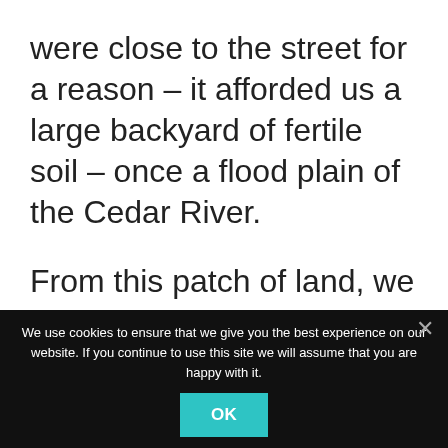were close to the street for a reason – it afforded us a large backyard of fertile soil – once a flood plain of the Cedar River.
From this patch of land, we ate well.
We use cookies to ensure that we give you the best experience on our website. If you continue to use this site we will assume that you are happy with it.